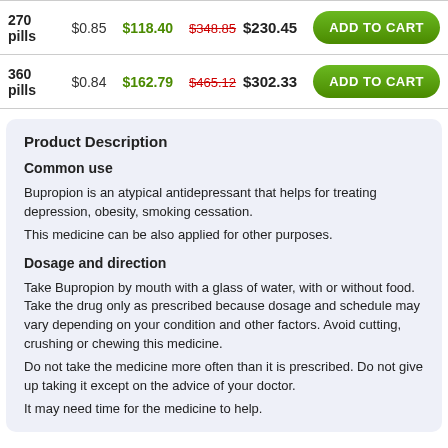|  | Per Pill | Savings | Price |  |
| --- | --- | --- | --- | --- |
| 270 pills | $0.85 | $118.40 | $348.85 $230.45 | ADD TO CART |
| 360 pills | $0.84 | $162.79 | $465.12 $302.33 | ADD TO CART |
Product Description
Common use
Bupropion is an atypical antidepressant that helps for treating depression, obesity, smoking cessation.
This medicine can be also applied for other purposes.
Dosage and direction
Take Bupropion by mouth with a glass of water, with or without food. Take the drug only as prescribed because dosage and schedule may vary depending on your condition and other factors. Avoid cutting, crushing or chewing this medicine.
Do not take the medicine more often than it is prescribed. Do not give up taking it except on the advice of your doctor.
It may need time for the medicine to help.